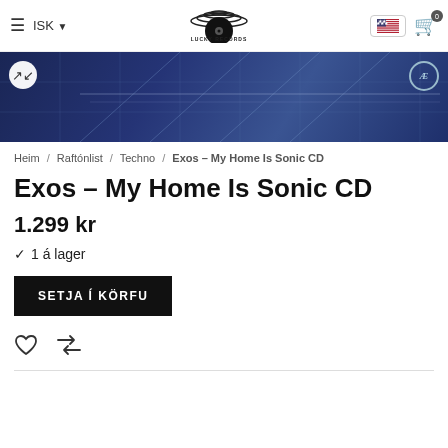≡  ISK ∨   LUCKY RECORDS   [US flag]   🛒 0
[Figure (photo): Blue album cover banner for Exos – My Home Is Sonic CD with grid lines and ÆE badge, expand icon top-left]
Heim / Raftónlist / Techno / Exos – My Home Is Sonic CD
Exos – My Home Is Sonic CD
1.299 kr
✓ 1 á lager
SETJA Í KÖRFU
♡  ⇌